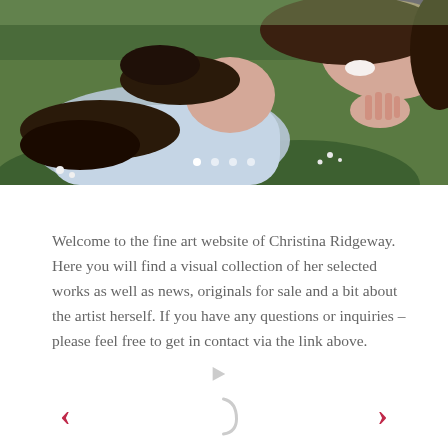[Figure (photo): A painting/artwork showing two young women lying in grass and flowers, laughing and smiling, with one resting her hand near her face. The style appears to be a detailed realistic oil painting with green grass and purple flowers in the background.]
Welcome to the fine art website of Christina Ridgeway. Here you will find a visual collection of her selected works as well as news, originals for sale and a bit about the artist herself. If you have any questions or inquiries – please feel free to get in contact via the link above.